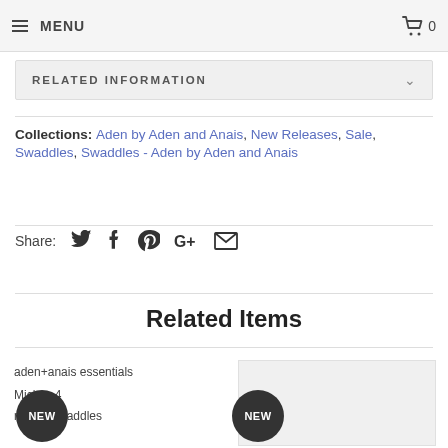MENU  [cart] 0
RELATED INFORMATION
Collections: Aden by Aden and Anais, New Releases, Sale, Swaddles, Swaddles - Aden by Aden and Anais
Share: [twitter] [facebook] [pinterest] [google+] [email]
Related Items
aden+anais essentials [NEW] Mickey 4 muslin swaddles
[Figure (other): NEW badge circular label on a product card placeholder image]